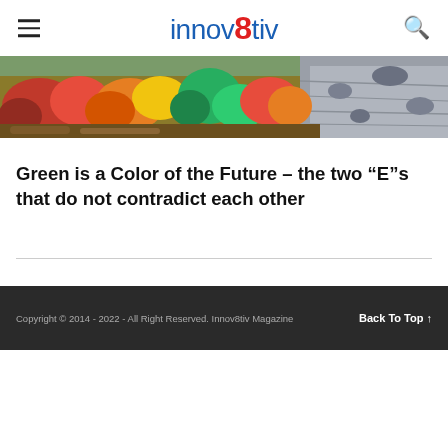innov8tiv
[Figure (photo): Autumn/fall nature landscape with colorful foliage — red, orange, yellow, and green shrubs and trees along a river or waterway, with grey rocky water visible on the right side.]
Green is a Color of the Future – the two “E”s that do not contradict each other
Copyright © 2014 - 2022 - All Right Reserved. Innov8tiv Magazine   Back To Top ↑